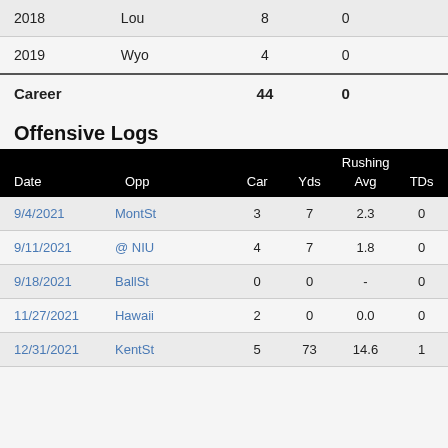| Year | Team | Col3 | Col4 |
| --- | --- | --- | --- |
| 2018 | Lou | 8 | 0 |
| 2019 | Wyo | 4 | 0 |
| Career |  | 44 | 0 |
Offensive Logs
| Date | Opp | Car | Yds | Avg | TDs |
| --- | --- | --- | --- | --- | --- |
| 9/4/2021 | MontSt | 3 | 7 | 2.3 | 0 |
| 9/11/2021 | @ NIU | 4 | 7 | 1.8 | 0 |
| 9/18/2021 | BallSt | 0 | 0 | - | 0 |
| 11/27/2021 | Hawaii | 2 | 0 | 0.0 | 0 |
| 12/31/2021 | KentSt | 5 | 73 | 14.6 | 1 |